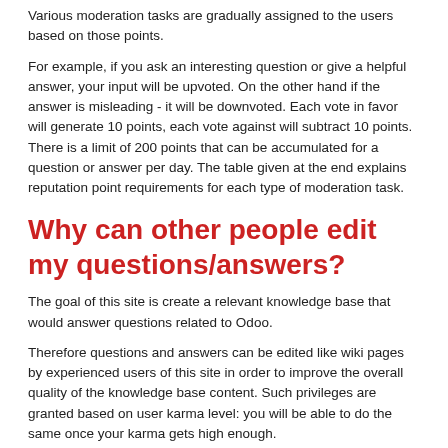Various moderation tasks are gradually assigned to the users based on those points.
For example, if you ask an interesting question or give a helpful answer, your input will be upvoted. On the other hand if the answer is misleading - it will be downvoted. Each vote in favor will generate 10 points, each vote against will subtract 10 points. There is a limit of 200 points that can be accumulated for a question or answer per day. The table given at the end explains reputation point requirements for each type of moderation task.
Why can other people edit my questions/answers?
The goal of this site is create a relevant knowledge base that would answer questions related to Odoo.
Therefore questions and answers can be edited like wiki pages by experienced users of this site in order to improve the overall quality of the knowledge base content. Such privileges are granted based on user karma level: you will be able to do the same once your karma gets high enough.
إذا لم يكن هذا الأسلوب مناسباً لك، فنرجو احترام المجتمع واستخدم مجتمعات جوجل بلس بدلاً منه.
| 5 | التصويت إيجاباً وإضافة تعليقات |
| --- | --- |
| 50 |  |